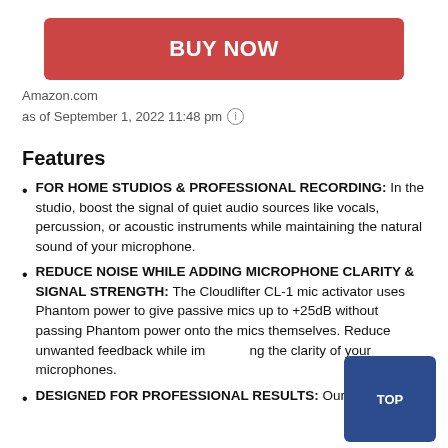[Figure (other): Red BUY NOW button]
Amazon.com
as of September 1, 2022 11:48 pm ⓘ
Features
FOR HOME STUDIOS & PROFESSIONAL RECORDING: In the studio, boost the signal of quiet audio sources like vocals, percussion, or acoustic instruments while maintaining the natural sound of your microphone.
REDUCE NOISE WHILE ADDING MICROPHONE CLARITY & SIGNAL STRENGTH: The Cloudlifter CL-1 mic activator uses Phantom power to give passive mics up to +25dB without passing Phantom power onto the mics themselves. Reduce unwanted feedback while improving the clarity of your microphones.
DESIGNED FOR PROFESSIONAL RESULTS: Our home